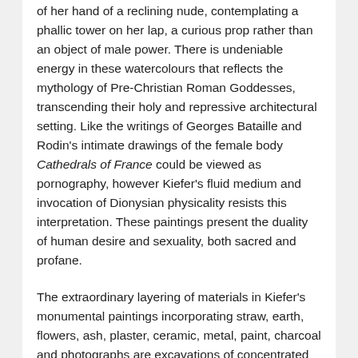of her hand of a reclining nude, contemplating a phallic tower on her lap, a curious prop rather than an object of male power. There is undeniable energy in these watercolours that reflects the mythology of Pre-Christian Roman Goddesses, transcending their holy and repressive architectural setting. Like the writings of Georges Bataille and Rodin's intimate drawings of the female body Cathedrals of France could be viewed as pornography, however Kiefer's fluid medium and invocation of Dionysian physicality resists this interpretation. These paintings present the duality of human desire and sexuality, both sacred and profane.
The extraordinary layering of materials in Kiefer's monumental paintings incorporating straw, earth, flowers, ash, plaster, ceramic, metal, paint, charcoal and photographs are excavations of concentrated energy and precision, formal construction and accident. Photographs embed the moment within a painting and are often a starting point, gradually worked over with thick impasto pigments and found materials, cycles of time and natural elements. The sharp, heightened vanishing point